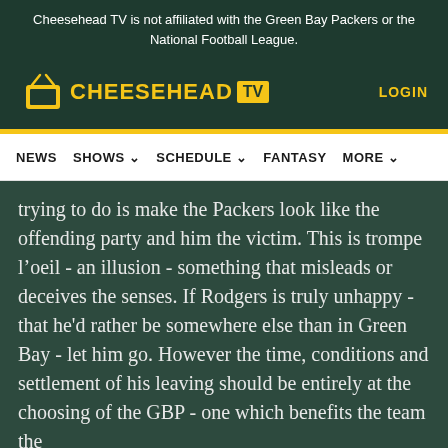Cheesehead TV is not affiliated with the Green Bay Packers or the National Football League.
[Figure (logo): Cheesehead TV logo with yellow text and TV badge, with LOGIN link on the right]
[Figure (screenshot): Navigation bar with NEWS, SHOWS, SCHEDULE, FANTASY, MORE menu items]
trying to do is make the Packers look like the offending party and him the victim. This is trompe l’oeil - an illusion - something that misleads or deceives the senses. If Rodgers is truly unhappy - that he'd rather be somewhere else than in Green Bay - let him go. However the time, conditions and settlement of his leaving should be entirely at the choosing of the GBP - one which benefits the team the
[Figure (screenshot): Groupon advertisement banner: Groupon Official Site | Online Shopping Deals - Discover & Save with Over 300k of the Best Deals - www.groupon.com]